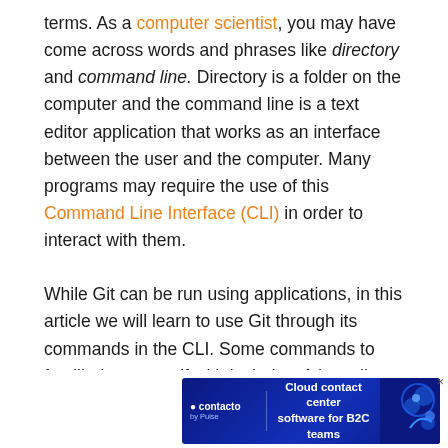terms. As a computer scientist, you may have come across words and phrases like directory and command line. Directory is a folder on the computer and the command line is a text editor application that works as an interface between the user and the computer. Many programs may require the use of this Command Line Interface (CLI) in order to interact with them.

While Git can be run using applications, in this article we will learn to use Git through its commands in the CLI. Some commands to familiarize yourself with include cd (standing for change directory), which allows a user to relocate to a different directory using that command, followed by the path of the desired directo
[Figure (other): Advertisement banner: Contacto by Pulse — 'Cloud contact center software for B2C teams' on a dark blue background with decorative graphic elements, with an X close button.]